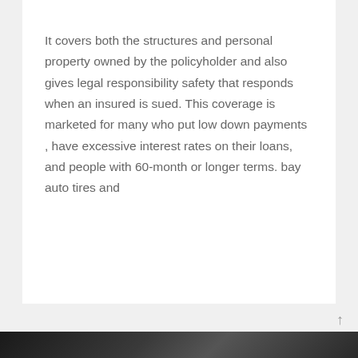It covers both the structures and personal property owned by the policyholder and also gives legal responsibility safety that responds when an insured is sued. This coverage is marketed for many who put low down payments , have excessive interest rates on their loans, and people with 60-month or longer terms. bay auto tires and
Read More
[Figure (photo): Dark photograph of a car interior/dashboard, partially visible at the bottom of the page]